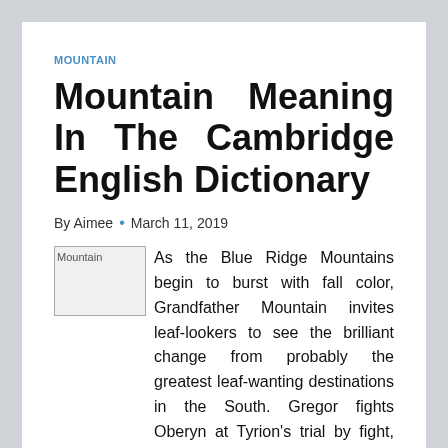MOUNTAIN
Mountain Meaning In The Cambridge English Dictionary
By Aimee • March 11, 2019
[Figure (photo): Mountain image placeholder (broken image icon labeled Mountain)]
As the Blue Ridge Mountains begin to burst with fall color, Grandfather Mountain invites leaf-lookers to see the brilliant change from probably the greatest leaf-wanting destinations in the South. Gregor fights Oberyn at Tyrion's trial by fight, yielding changes to bounce on and his